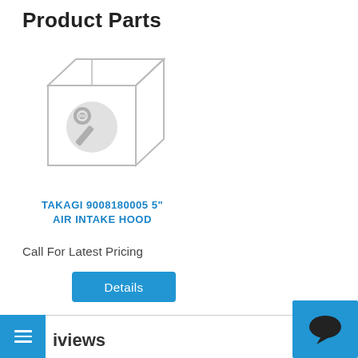Product Parts
[Figure (illustration): A generic product box illustration with a wrench/tool icon on the front face, drawn in light gray outline style]
TAKAGI 9008180005 5" AIR INTAKE HOOD
Call For Latest Pricing
Details
iviews